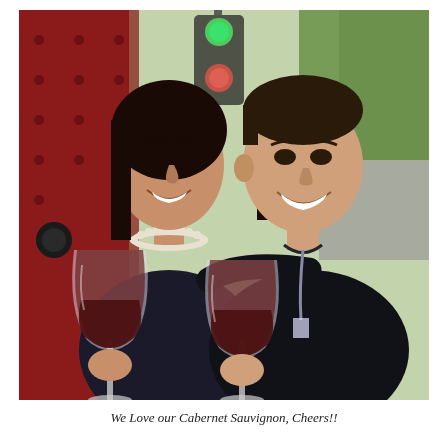[Figure (photo): A smiling couple clinking glasses of red wine. The woman on the left has dark hair, wearing a dark top with a pearl necklace. The man on the right is wearing a black polo shirt. They are outdoors near a red structure with a traffic light visible in the background and green trees.]
We Love our Cabernet Sauvignon, Cheers!!